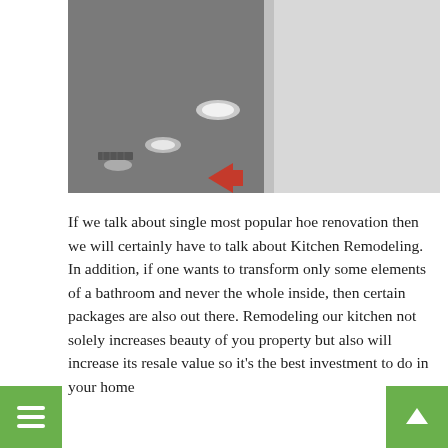[Figure (photo): Interior photo of a room showing a white wall and ceiling with recessed lighting and a hallway, slightly tilted/angled shot. A red arrow is visible in the lower portion of the image.]
If we talk about single most popular hoe renovation then we will certainly have to talk about Kitchen Remodeling. In addition, if one wants to transform only some elements of a bathroom and never the whole inside, then certain packages are also out there. Remodeling our kitchen not solely increases beauty of your property but also will increase its resale value so it's the best investment to do in your home